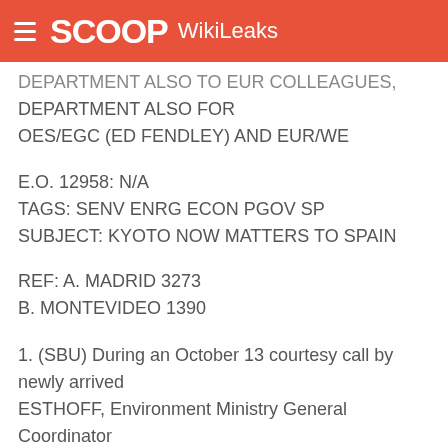SCOOP WikiLeaks
DEPARTMENT ALSO FOR
OES/EGC (ED FENDLEY) AND EUR/WE
E.O. 12958: N/A
TAGS: SENV ENRG ECON PGOV SP
SUBJECT: KYOTO NOW MATTERS TO SPAIN
REF: A. MADRID 3273
B. MONTEVIDEO 1390
1. (SBU) During an October 13 courtesy call by newly arrived ESTHOFF, Environment Ministry General Coordinator